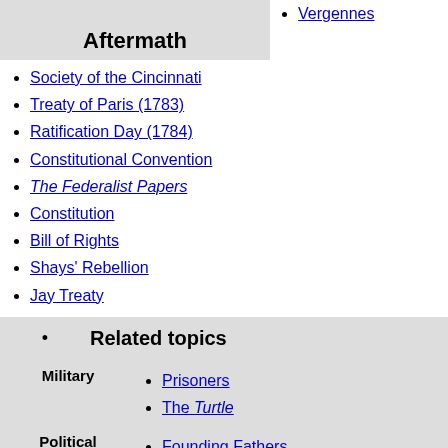Vergennes
Aftermath
Society of the Cincinnati
Treaty of Paris (1783)
Ratification Day (1784)
Constitutional Convention
The Federalist Papers
Constitution
Bill of Rights
Shays' Rebellion
Jay Treaty
Related topics
Prisoners
The Turtle
Founding Fathers
Diplomacy
Liberty Tree
Yankee Doodle
Timeline of the American Revolution